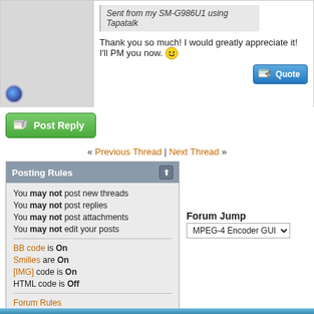[Figure (screenshot): Forum post with avatar area on left and quoted message plus reply text on right. Quote box reads: Sent from my SM-G986U1 using Tapatalk. Post text: Thank you so much! I would greatly appreciate it! I'll PM you now. [smiley]. Quote button in bottom right.]
[Figure (screenshot): Post Reply button with pencil/paper icon, green gradient styling]
« Previous Thread | Next Thread »
Posting Rules
You may not post new threads
You may not post replies
You may not post attachments
You may not edit your posts
BB code is On
Smilies are On
[IMG] code is On
HTML code is Off
Forum Rules
Forum Jump
MPEG-4 Encoder GUIs
All times are GMT +1. The time now is 20:13.